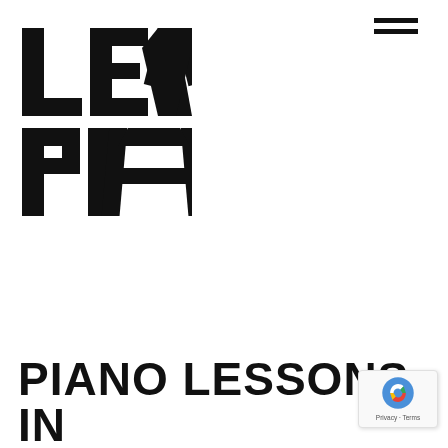[Figure (logo): LEV PIA stacked logo in large bold black letters, two rows: 'LEV' on top row and 'PIA' on bottom row, forming an angular geometric wordmark]
[Figure (other): Hamburger menu icon with two horizontal black bars in top right corner]
PIANO LESSONS IN
[Figure (other): Google reCAPTCHA badge in bottom right corner showing recaptcha logo and Privacy - Terms text]